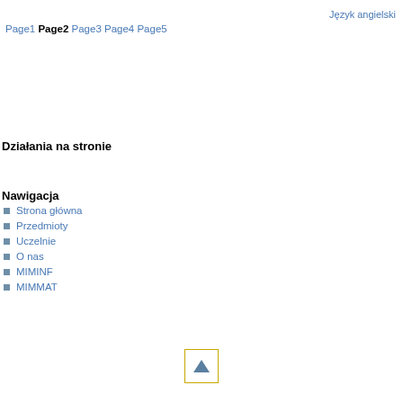Język angielski
Page1 Page2 Page3 Page4 Page5
Działania na stronie
Nawigacja
Strona główna
Przedmioty
Uczelnie
O nas
MIMINF
MIMMAT
[Figure (other): Scroll to top button with upward-pointing triangle arrow]